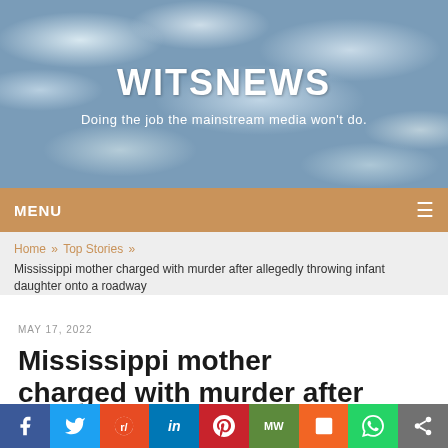WITSNEWS
Doing the job the mainstream media won't do.
MENU
Home » Top Stories »
Mississippi mother charged with murder after allegedly throwing infant daughter onto a roadway
MAY 17, 2022
Mississippi mother charged with murder after